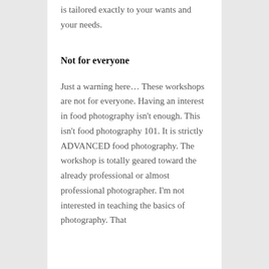is tailored exactly to your wants and your needs.
Not for everyone
Just a warning here… These workshops are not for everyone. Having an interest in food photography isn't enough. This isn't food photography 101. It is strictly ADVANCED food photography. The workshop is totally geared toward the already professional or almost professional photographer. I'm not interested in teaching the basics of photography. That